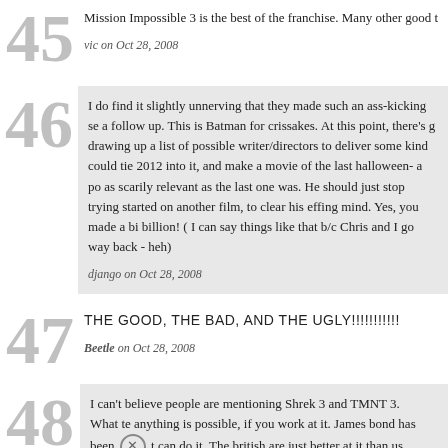45 — Mission Impossible 3 is the best of the franchise. Many other good t... vic on Oct 28, 2008
46 — I do find it slightly unnerving that they made such an ass-kicking se a follow up. This is Batman for crissakes. At this point, there's g drawing up a list of possible writer/directors to deliver some kind could tie 2012 into it, and make a movie of the last halloween- a po as scarily relevant as the last one was. He should just stop trying started on another film, to clear his effing mind. Yes, you made a bi billion! ( I can say things like that b/c Chris and I go way back - heh) django on Oct 28, 2008
47 — THE GOOD, THE BAD, AND THE UGLY!!!!!!!!!!! Beetle on Oct 28, 2008
48 — I can't believe people are mentioning Shrek 3 and TMNT 3. What te anything is possible, if you work at it. James bond has been [X] t can do it. The british are just better at it than us. Aldonn on Oct 28, 2008